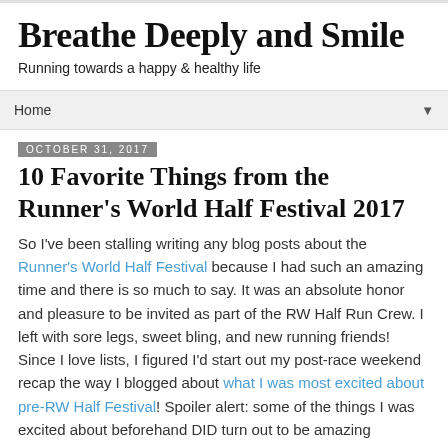Breathe Deeply and Smile
Running towards a happy & healthy life
Home ▼
October 31, 2017
10 Favorite Things from the Runner's World Half Festival 2017
So I've been stalling writing any blog posts about the Runner's World Half Festival because I had such an amazing time and there is so much to say. It was an absolute honor and pleasure to be invited as part of the RW Half Run Crew. I left with sore legs, sweet bling, and new running friends! Since I love lists, I figured I'd start out my post-race weekend recap the way I blogged about what I was most excited about pre-RW Half Festival! Spoiler alert: some of the things I was excited about beforehand DID turn out to be amazing